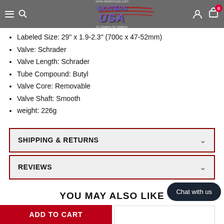Skaters USA navigation bar with logo, search, account, and cart icons
Labeled Size: 29" x 1.9-2.3" (700c x 47-52mm)
Valve: Schrader
Valve Length: Schrader
Tube Compound: Butyl
Valve Core: Removable
Valve Shaft: Smooth
weight: 226g
SHIPPING & RETURNS
REVIEWS
YOU MAY ALSO LIKE